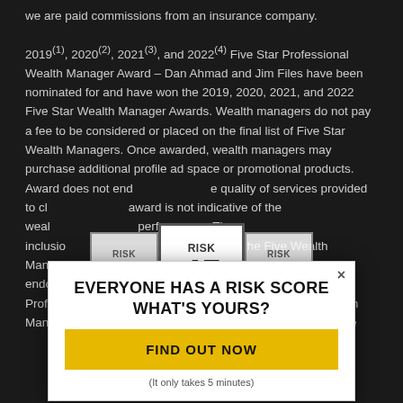we are paid commissions from an insurance company.
2019(1), 2020(2), 2021(3), and 2022(4) Five Star Professional Wealth Manager Award – Dan Ahmad and Jim Files have been nominated for and have won the 2019, 2020, 2021, and 2022 Five Star Wealth Manager Awards. Wealth managers do not pay a fee to be considered or placed on the final list of Five Star Wealth Managers. Once awarded, wealth managers may purchase additional profile ad space or promotional products. Award does not endorse the quality of services provided to clients. award is not indicative of the wealth manager's performance. The inclusion of a financial professional in the Five Star Wealth Manager list is not intended to suggest or imply endorsement of the financial professional by Five Star Professional. Past receipt of a Five Star Wealth Manager award is not a guarantee as to future
[Figure (infographic): Risk score display showing three boxes side by side: RISK 35, RISK 45 (center, larger), RISK 55, with a popup overlay below saying EVERYONE HAS A RISK SCORE WHAT'S YOURS? with a yellow FIND OUT NOW button and (It only takes 5 minutes) subtext.]